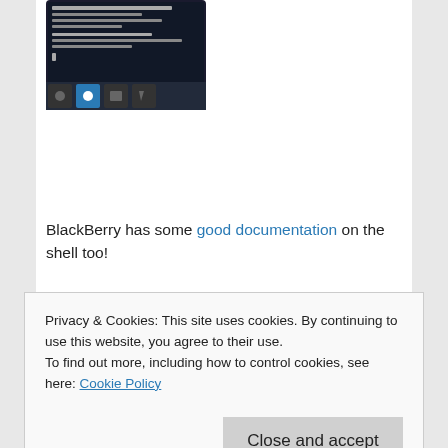[Figure (screenshot): Screenshot of a mobile device (BlackBerry) showing a shell/terminal interface with text and bottom navigation icons]
BlackBerry has some good documentation on the shell too!
Scripts should source the environment variable file at /accounts/1000/shared/misc/bron/conf/env-vars.txt to have access to environment variables that may be of use to your script.  For the moment, the only one defined is $BRONDIR which resolves to
Privacy & Cookies: This site uses cookies. By continuing to use this website, you agree to their use.
To find out more, including how to control cookies, see here: Cookie Policy
Close and accept
/accounts/1000/shared/misc/bron/c